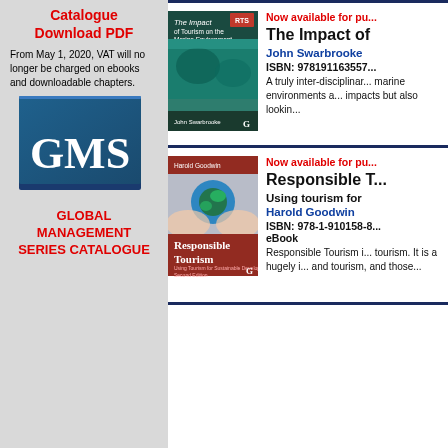Catalogue
Download PDF
From May 1, 2020, VAT will no longer be charged on ebooks and downloadable chapters.
[Figure (logo): GMS logo - blue square with white GMS text]
GLOBAL MANAGEMENT SERIES CATALOGUE
Now available for pu...
The Impact of
John Swarbrooke
ISBN: 978191163557...
A truly inter-disciplinar... marine environments a... impacts but also lookin...
Now available for pu...
Responsible T...
Using tourism for
Harold Goodwin
ISBN: 978-1-910158-8... eBook
Responsible Tourism i... tourism. It is a hugely i... and tourism, and those...